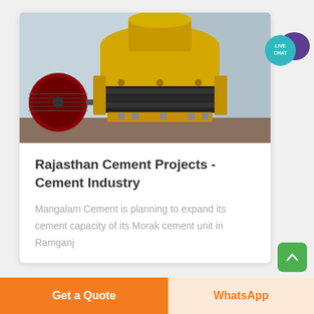[Figure (photo): Industrial cone crusher machine in yellow color inside a factory, with belt pulley and spring assembly visible]
Rajasthan Cement Projects - Cement Industry
Mangalam Cement is planning to expand its cement capacity of its Morak cement unit in Ramganj
[Figure (illustration): Live Chat speech bubble icon in teal/cyan color with purple chat bubble overlay]
Get a Quote
WhatsApp